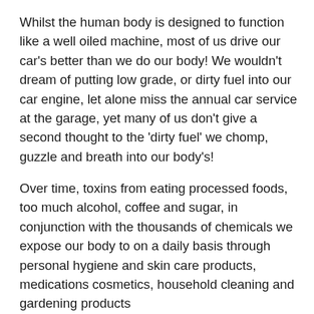Whilst the human body is designed to function like a well oiled machine, most of us drive our car's better than we do our body! We wouldn't dream of putting low grade, or dirty fuel into our car engine, let alone miss the annual car service at the garage, yet many of us don't give a second thought to the 'dirty fuel' we chomp, guzzle and breath into our body's!
Over time, toxins from eating processed foods, too much alcohol, coffee and sugar, in conjunction with the thousands of chemicals we expose our body to on a daily basis through personal hygiene and skin care products, medications cosmetics, household cleaning and gardening products